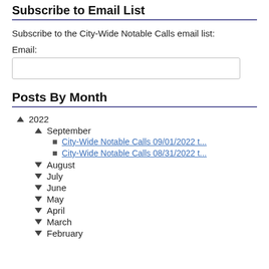Subscribe to Email List
Subscribe to the City-Wide Notable Calls email list:
Email:
Posts By Month
2022
September
City-Wide Notable Calls 09/01/2022 t...
City-Wide Notable Calls 08/31/2022 t...
August
July
June
May
April
March
February